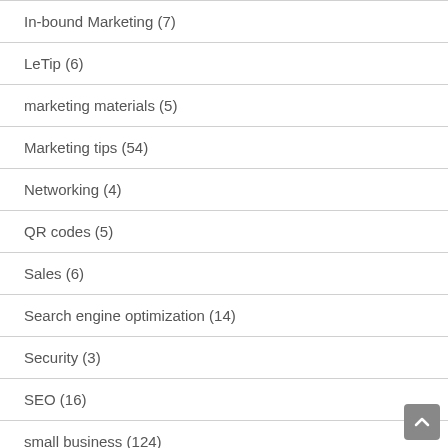In-bound Marketing (7)
LeTip (6)
marketing materials (5)
Marketing tips (54)
Networking (4)
QR codes (5)
Sales (6)
Search engine optimization (14)
Security (3)
SEO (16)
small business (124)
Social media (21)
Speaking Engagements (5)